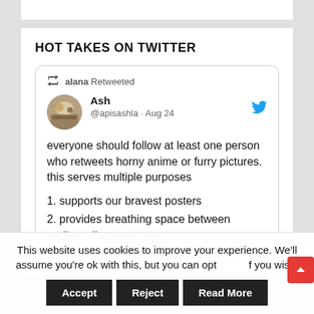HOT TAKES ON TWITTER
[Figure (screenshot): Tweet by Ash (@apisashla) on Aug 24, retweeted by alana. Tweet text: everyone should follow at least one person who retweets horny anime or furry pictures. this serves multiple purposes. 1. supports our bravest posters 2. provides breathing space between endless discourse posts 3. keeps you mindful not to use this godforsaken (cut off)]
This website uses cookies to improve your experience. We'll assume you're ok with this, but you can opt out if you wish.
Accept  Reject  Read More